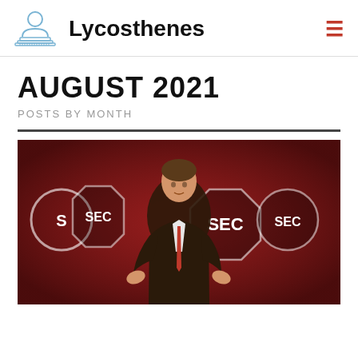Lycosthenes
AUGUST 2021
POSTS BY MONTH
[Figure (photo): Man in dark suit speaking at an SEC (Southeastern Conference) media event, with red background featuring SEC logos and South Carolina Gamecocks logos]